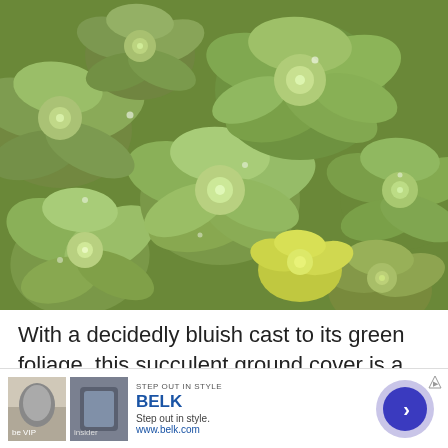[Figure (photo): Close-up photograph of succulent ground cover plants with a bluish-green cast, showing dense rosette-shaped foliage filling the entire frame.]
With a decidedly bluish cast to its green foliage, this succulent ground cover is a unique addition to any sunny path, rock garden, wall, or container. The tough and easy maintenance plant is also drought tolerant
[Figure (other): Advertisement banner for Belk department store. Shows 'STEP OUT IN STYLE' label, two small product images, Belk logo in blue, tagline 'Step out in style.' and 'www.belk.com', with a blue arrow button on the right.]